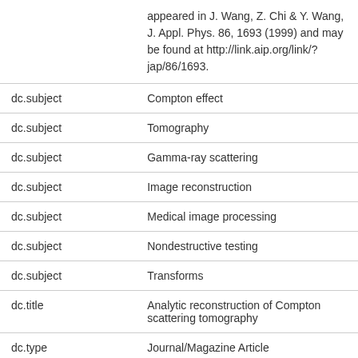| Field | Value |
| --- | --- |
|  | appeared in J. Wang, Z. Chi & Y. Wang, J. Appl. Phys. 86, 1693 (1999) and may be found at http://link.aip.org/link/?jap/86/1693. |
| dc.subject | Compton effect |
| dc.subject | Tomography |
| dc.subject | Gamma-ray scattering |
| dc.subject | Image reconstruction |
| dc.subject | Medical image processing |
| dc.subject | Nondestructive testing |
| dc.subject | Transforms |
| dc.title | Analytic reconstruction of Compton scattering tomography |
| dc.type | Journal/Magazine Article |